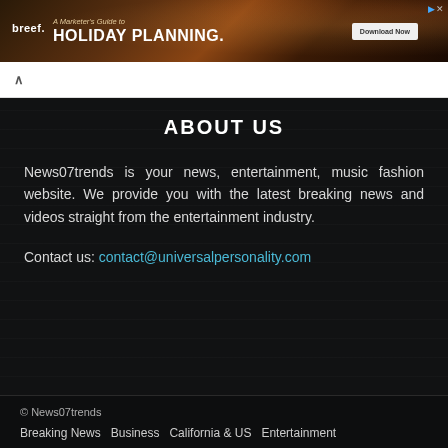[Figure (screenshot): Advertisement banner for Breef: A Marketer's Guide to Holiday Planning with a Download Now button, dark brown background with holiday imagery]
ABOUT US
News07trends is your news, entertainment, music fashion website. We provide you with the latest breaking news and videos straight from the entertainment industry.
Contact us: contact@universalpersonality.com
© News07trends
Breaking News  Business  California & US  Entertainment